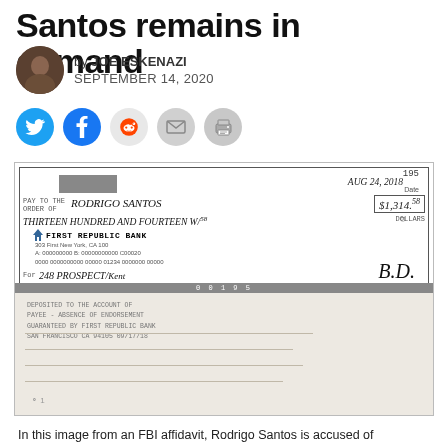Santos remains in demand
by JOE ESKENAZI
SEPTEMBER 14, 2020
[Figure (photo): Image from an FBI affidavit showing front and back of a check from First Republic Bank dated Aug 24, 2018, check number 195, payable to Rodrigo Santos for $1,314.58, with memo '248 Prospect' and a signature. The back shows endorsement stamps and signature.]
In this image from an FBI affidavit, Rodrigo Santos is accused of